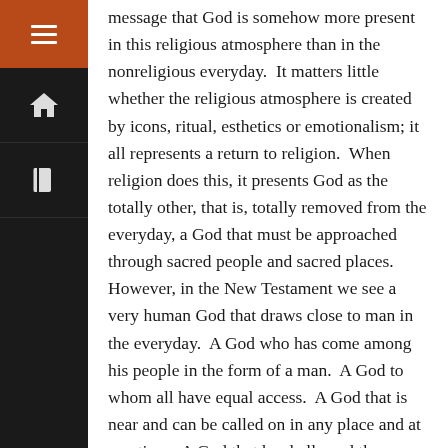message that God is somehow more present in this religious atmosphere than in the nonreligious everyday.  It matters little whether the religious atmosphere is created by icons, ritual, esthetics or emotionalism; it all represents a return to religion.  When religion does this, it presents God as the totally other, that is, totally removed from the everyday, a God that must be approached through sacred people and sacred places.  However, in the New Testament we see a very human God that draws close to man in the everyday.  A God who has come among his people in the form of a man.  A God to whom all have equal access.  A God that is near and can be called on in any place and at any time.  A God that has hallowed the everyday with his presence.
Moreover, religion makes worship something you